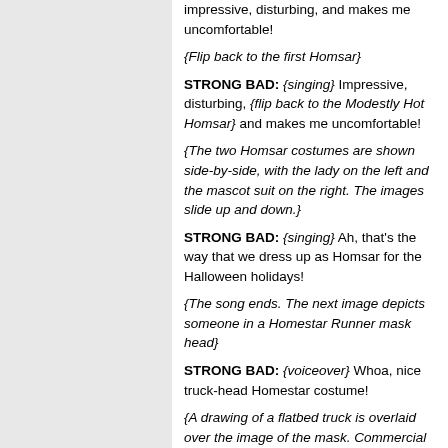impressive, disturbing, and makes me uncomfortable!
{Flip back to the first Homsar}
STRONG BAD: {singing} Impressive, disturbing, {flip back to the Modestly Hot Homsar} and makes me uncomfortable!
{The two Homsar costumes are shown side-by-side, with the lady on the left and the mascot suit on the right. The images slide up and down.}
STRONG BAD: {singing} Ah, that's the way that we dress up as Homsar for the Halloween holidays!
{The song ends. The next image depicts someone in a Homestar Runner mask head}
STRONG BAD: {voiceover} Whoa, nice truck-head Homestar costume!
{A drawing of a flatbed truck is overlaid over the image of the mask. Commercial music plays.}